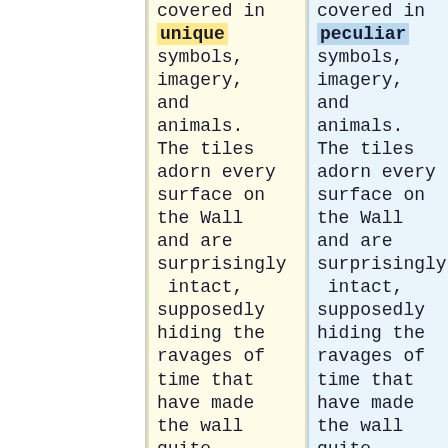covered in unique symbols, imagery, and animals. The tiles adorn every surface on the Wall and are surprisingly intact, supposedly hiding the ravages of time that have made the wall quite unstable. The Wall
covered in peculiar symbols, imagery, and animals. The tiles adorn every surface on the Wall and are surprisingly intact, supposedly hiding the ravages of time that have made the wall quite unstable. The Wall